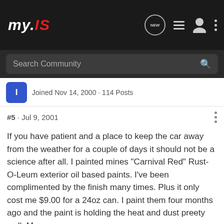my.IS
Joined Nov 14, 2000 · 114 Posts
#5 · Jul 9, 2001
If you have patient and a place to keep the car away from the weather for a couple of days it should not be a science after all. I painted mines "Carnival Red" Rust-O-Leum exterior oil based paints. I've been complimented by the finish many times. Plus it only cost me $9.00 for a 24oz can. I paint them four months ago and the paint is holding the heat and dust preety well. My

two cents.